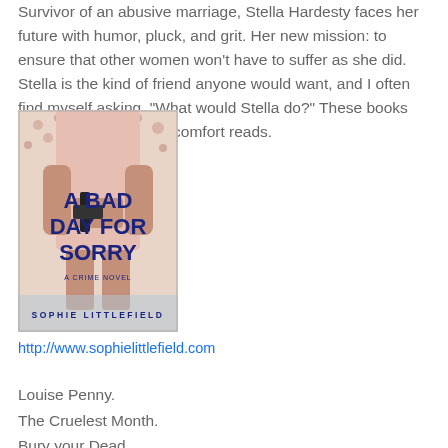Survivor of an abusive marriage, Stella Hardesty faces her future with humor, pluck, and grit. Her new mission: to ensure that other women won't have to suffer as she did. Stella is the kind of friend anyone would want, and I often find myself asking, "What would Stella do?" These books have become my new comfort reads.
[Figure (illustration): Book cover for 'A Bad Day for Sorry' by Sophie Littlefield, a crime novel. Shows a woman in a floral dress holding a gun, with blue bold title text.]
http://www.sophielittlefield.com
Louise Penny.
The Cruelest Month.
Bury your Dead.